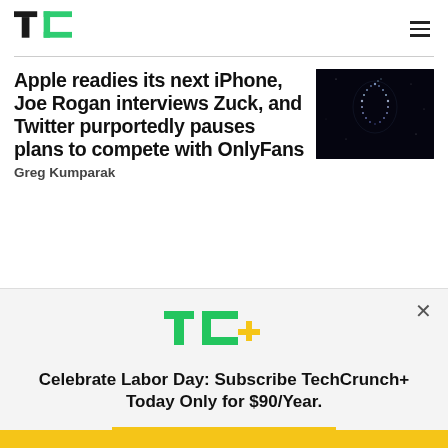TechCrunch
Apple readies its next iPhone, Joe Rogan interviews Zuck, and Twitter purportedly pauses plans to compete with OnlyFans
[Figure (photo): Dark background with glowing Apple logo made of light dots/stars]
Greg Kumparak
[Figure (logo): TC+ logo in green and yellow]
Celebrate Labor Day: Subscribe TechCrunch+ Today Only for $90/Year.
GET OFFER NOW